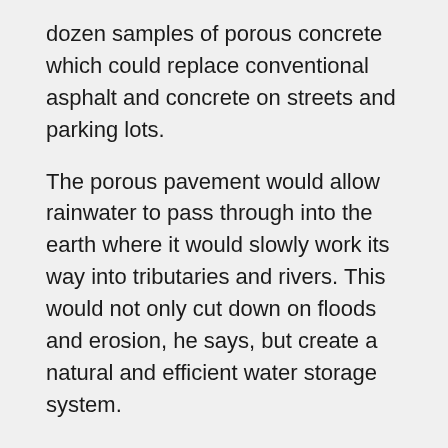dozen samples of porous concrete which could replace conventional asphalt and concrete on streets and parking lots.
The porous pavement would allow rainwater to pass through into the earth where it would slowly work its way into tributaries and rivers. This would not only cut down on floods and erosion, he says, but create a natural and efficient water storage system.
FERGUSON: That water belongs in the soil. That is where it went before we came along and it is a great gift that nature is able to work, if we'll only let it.
SCOTT: In the meantime, as experts debate the best way to keep Atlanta supplied with water, communities farther down in the watershed, in South Georgia, Alabama and Florida, are staking their own claims to the precious